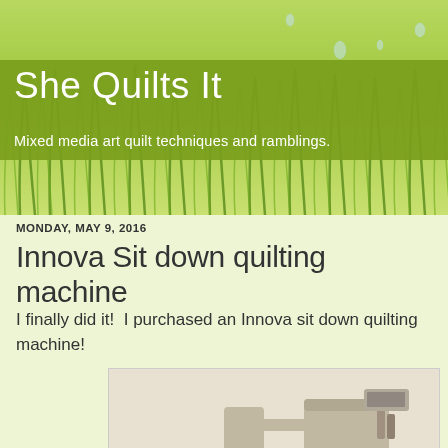She Quilts It
Mixed media art quilt techniques and ramblings.
MONDAY, MAY 9, 2016
Innova Sit down quilting machine
I finally did it!  I purchased an Innova sit down quilting machine!
[Figure (photo): An Innova sit down quilting machine on a wooden table/frame, showing the sewing machine head mounted on a large flat table surface with legs.]